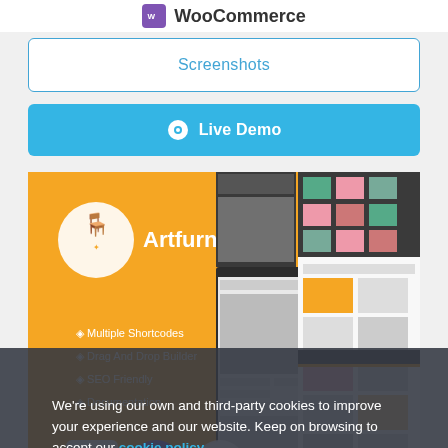WooCommerce
Screenshots
Live Demo
[Figure (screenshot): Artfurniture WooCommerce theme screenshot showing orange branding with Multiple Shortcodes, Drag And Drop Builder, SEO Friendly, Documentation features listed, plus preview thumbnails of store pages]
We're using our own and third-party cookies to improve your experience and our website. Keep on browsing to accept our cookie policy.
Accept